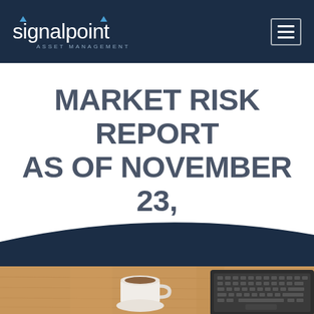signalpoint ASSET MANAGEMENT
MARKET RISK REPORT AS OF NOVEMBER 23, 2020
[Figure (photo): Overhead view of a wooden desk with a white coffee cup containing coffee and a laptop keyboard in the top-right corner]